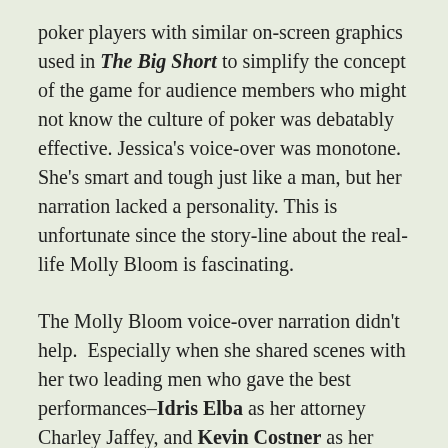poker players with similar on-screen graphics used in The Big Short to simplify the concept of the game for audience members who might not know the culture of poker was debatably effective. Jessica's voice-over was monotone. She's smart and tough just like a man, but her narration lacked a personality. This is unfortunate since the story-line about the real-life Molly Bloom is fascinating.
The Molly Bloom voice-over narration didn't help.  Especially when she shared scenes with her two leading men who gave the best performances–Idris Elba as her attorney Charley Jaffey, and Kevin Costner as her father Larry Bloom. Elba and Costner breathed life into their characters, displaying them as smart